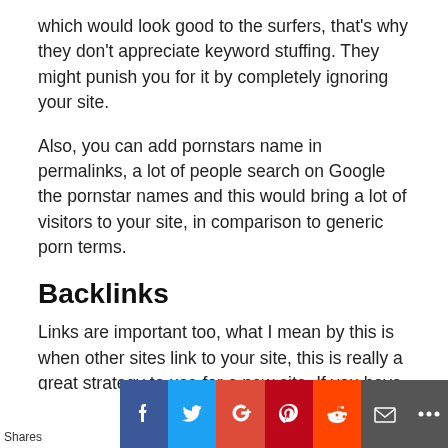which would look good to the surfers, that's why they don't appreciate keyword stuffing. They might punish you for it by completely ignoring your site.
Also, you can add pornstars name in permalinks, a lot of people search on Google the pornstar names and this would bring a lot of visitors to your site, in comparison to generic porn terms.
Backlinks
Links are important too, what I mean by this is when other sites link to your site, this is really a great strategy to use for a new site. If you have some old sites, or if you find a way to get a link from other sites that would be great for your
Shares [social share buttons: Facebook, Twitter, Google+, Pinterest, Reddit, Email, More]